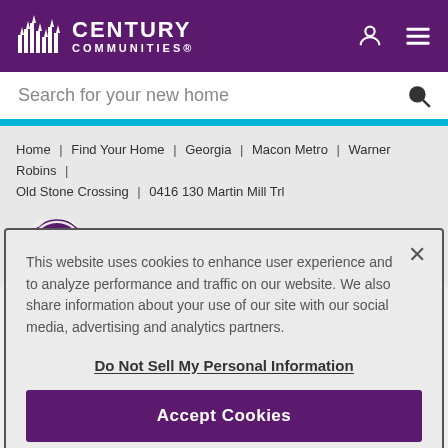[Figure (logo): Century Communities logo with building icon on purple header bar with user and menu icons]
Search for your new home
Home | Find Your Home | Georgia | Macon Metro | Warner Robins | Old Stone Crossing | 0416 130 Martin Mill Trl
[Figure (logo): Eliant homebuyer survey company badge/logo with 3,898 homebuyer reviews and See Reviews link]
This website uses cookies to enhance user experience and to analyze performance and traffic on our website. We also share information about your use of our site with our social media, advertising and analytics partners.
Do Not Sell My Personal Information
Accept Cookies